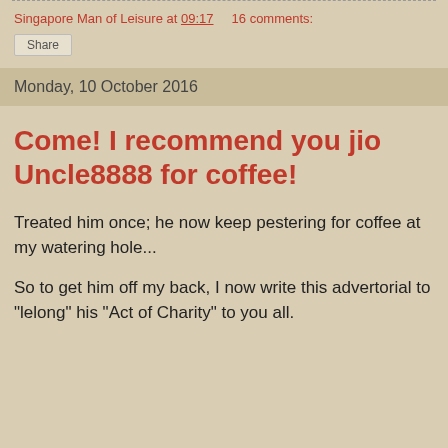Singapore Man of Leisure at 09:17   16 comments:
Share
Monday, 10 October 2016
Come! I recommend you jio Uncle8888 for coffee!
Treated him once; he now keep pestering for coffee at my watering hole...
So to get him off my back, I now write this advertorial to "lelong" his "Act of Charity" to you all.